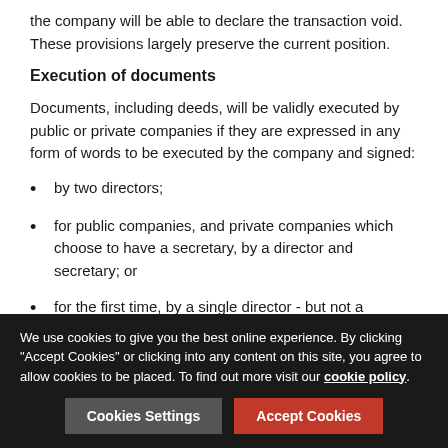the company will be able to declare the transaction void. These provisions largely preserve the current position.
Execution of documents
Documents, including deeds, will be validly executed by public or private companies if they are expressed in any form of words to be executed by the company and signed:
by two directors;
for public companies, and private companies which choose to have a secretary, by a director and secretary; or
for the first time, by a single director - but not a secretary - in the presence of a witness who attests the signature.
We use cookies to give you the best online experience. By clicking "Accept Cookies" or clicking into any content on this site, you agree to allow cookies to be placed. To find out more visit our cookie policy.